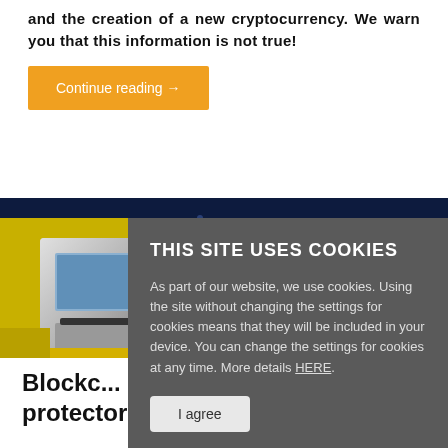and the creation of a new cryptocurrency. We warn you that this information is not true!
Continue reading →
[Figure (photo): Bitcoin ATM machine with yellow casing and screen, photographed closely]
THIS SITE USES COOKIES
As part of our website, we use cookies. Using the site without changing the settings for cookies means that they will be included in your device. You can change the settings for cookies at any time. More details HERE.
I agree
Blockc... protector